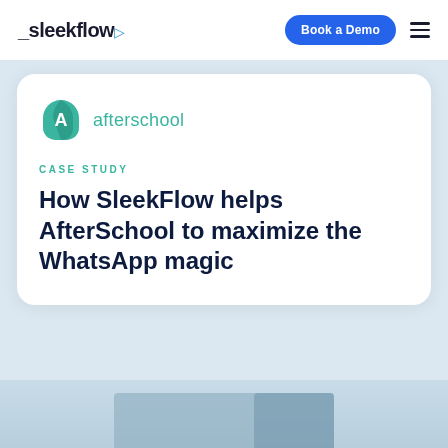_sleekflow
[Figure (logo): AfterSchool logo: teal shield-like icon with white letter A, followed by the text 'afterschool' in teal]
CASE STUDY
How SleekFlow helps AfterSchool to maximize the WhatsApp magic
[Figure (photo): Partial photo at the bottom of the page showing a blurred background scene]